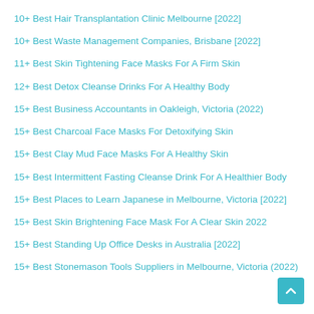10+ Best Hair Transplantation Clinic Melbourne [2022]
10+ Best Waste Management Companies, Brisbane [2022]
11+ Best Skin Tightening Face Masks For A Firm Skin
12+ Best Detox Cleanse Drinks For A Healthy Body
15+ Best Business Accountants in Oakleigh, Victoria (2022)
15+ Best Charcoal Face Masks For Detoxifying Skin
15+ Best Clay Mud Face Masks For A Healthy Skin
15+ Best Intermittent Fasting Cleanse Drink For A Healthier Body
15+ Best Places to Learn Japanese in Melbourne, Victoria [2022]
15+ Best Skin Brightening Face Mask For A Clear Skin 2022
15+ Best Standing Up Office Desks in Australia [2022]
15+ Best Stonemason Tools Suppliers in Melbourne, Victoria (2022)